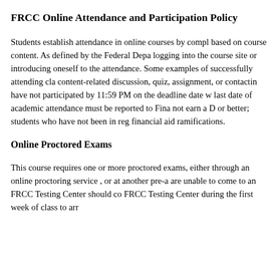FRCC Online Attendance and Participation Policy
Students establish attendance in online courses by completing work based on course content. As defined by the Federal Department of Education, logging into the course site or introducing oneself to the class does not constitute attendance. Some examples of successfully attending class are: completing a content-related discussion, quiz, assignment, or contacting the instructor. Students who have not participated by 11:59 PM on the deadline date will be dropped. The last date of academic attendance must be reported to Financial Aid for students who do not earn a D or better; students who have not been in regular attendance may face financial aid ramifications.
Online Proctored Exams
This course requires one or more proctored exams, either at an FRCC Testing Center, through an online proctoring service , or at another pre-approved location. Students who are unable to come to an FRCC Testing Center should contact the instructor and the FRCC Testing Center during the first week of class to arrange an alternative.